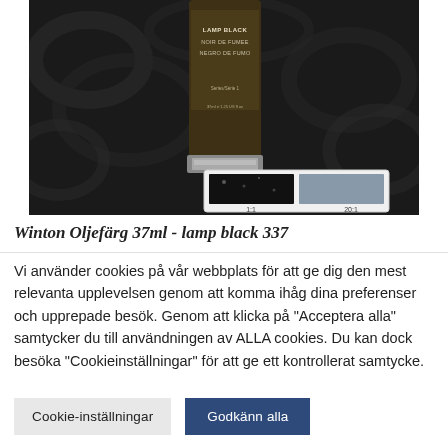[Figure (photo): A tube of Winton oil paint in Lamp Black 337 lying on a dark textured background. The tube has a dark olive/brown label with white text reading 'LAMP BLACK / NOIR DE FUMEE / NEGRO DE FUMO'. Below the main tube image is a small swatch comparison panel showing two color samples: one very dark (1:1 ratio) and one lighter grey-blue (20:1 ratio).]
Winton Oljefärg 37ml - lamp black 337
Vi använder cookies på vår webbplats för att ge dig den mest relevanta upplevelsen genom att komma ihåg dina preferenser och upprepade besök. Genom att klicka på "Acceptera alla" samtycker du till användningen av ALLA cookies. Du kan dock besöka "Cookieinställningar" för att ge ett kontrollerat samtycke.
Cookie-inställningar
Godkänn alla